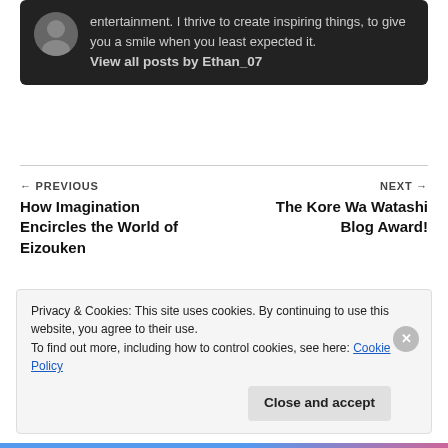entertainment. I thrive to create inspiring things, to give you a smile when you least expected it.
View all posts by Ethan_07
← PREVIOUS
How Imagination Encircles the World of Eizouken
NEXT →
The Kore Wa Watashi Blog Award!
Privacy & Cookies: This site uses cookies. By continuing to use this website, you agree to their use.
To find out more, including how to control cookies, see here: Cookie Policy
Close and accept